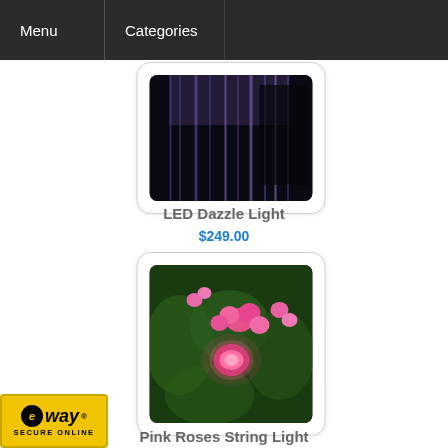Menu | Categories
[Figure (photo): LED Dazzle Light product image showing blue/purple light curtain effect on dark background]
LED Dazzle Light
$249.00
[Figure (photo): Pink Roses String Light product image showing pink rose flower lights on dark green foliage background]
Pink Roses String Light
$30.00
[Figure (logo): eWAY Secure Online payment badge - yellow background with eWAY logo and SECURE ONLINE text]